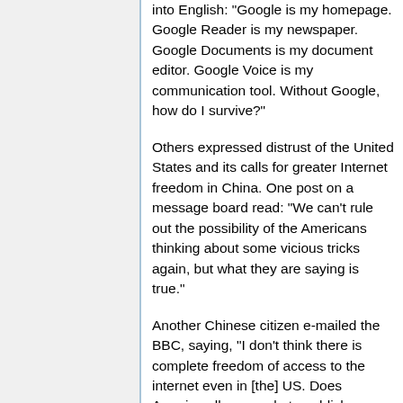into English: "Google is my homepage. Google Reader is my newspaper. Google Documents is my document editor. Google Voice is my communication tool. Without Google, how do I survive?"
Others expressed distrust of the United States and its calls for greater Internet freedom in China. One post on a message board read: "We can't rule out the possibility of the Americans thinking about some vicious tricks again, but what they are saying is true."
Another Chinese citizen e-mailed the BBC, saying, "I don't think there is complete freedom of access to the internet even in [the] US. Does America allow people to publish propaganda for terror attacks against them? So why should China lift its control on content